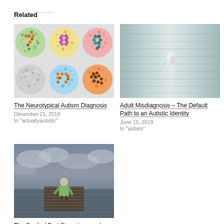Related
[Figure (illustration): Six Ishihara color blindness test plates arranged in a 3x2 grid showing numbers 7, 8, 9, and other patterns in multicolored dots]
The Neurotypical Autism Diagnosis
December 21, 2018
In "actuallyautistic"
[Figure (photo): Person in white clothing in a reflective glass corridor or hallway with a blurred, ethereal appearance]
Adult Misdiagnosis – The Default Path to an Autistic Identity
June 15, 2019
In "autism"
[Figure (photo): Child in green jacket sitting alone on a dock over water with a cloudy sky reflected in the water]
The Spoiled Brat Stereotype and Autistic Children
July 17, 2020